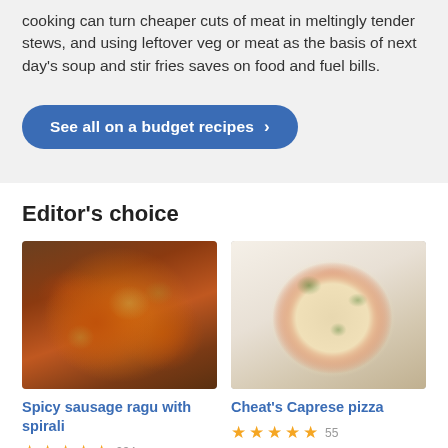cooking can turn cheaper cuts of meat in meltingly tender stews, and using leftover veg or meat as the basis of next day's soup and stir fries saves on food and fuel bills.
See all on a budget recipes >
Editor's choice
[Figure (photo): Bowl of spicy sausage ragu with spirali pasta, overhead view]
[Figure (photo): Cheat's Caprese pizza with tomatoes and mozzarella, overhead view]
Spicy sausage ragu with spirali
★★★★★ 234
Cheat's Caprese pizza
★★★★★ 55